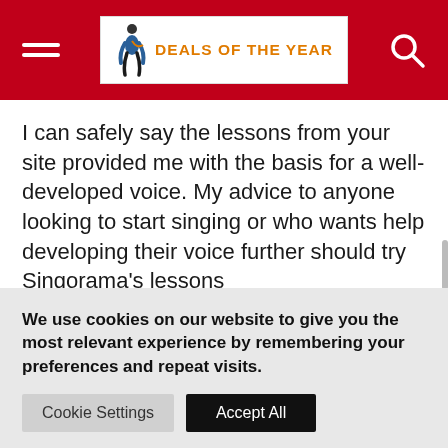DEALS OF THE YEAR
I can safely say the lessons from your site provided me with the basis for a well-developed voice. My advice to anyone looking to start singing or who wants help developing their voice further should try Singorama’s lessons
I actually purchased Singorama because I was particularly interested in training myself to have
We use cookies on our website to give you the most relevant experience by remembering your preferences and repeat visits.
Cookie Settings   Accept All